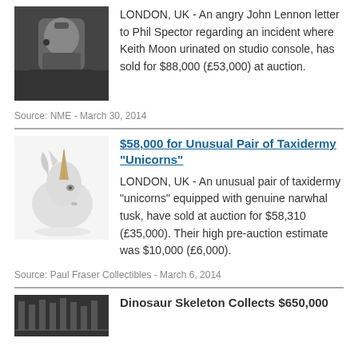[Figure (photo): Black and white photo of John Lennon]
LONDON, UK - An angry John Lennon letter to Phil Spector regarding an incident where Keith Moon urinated on studio console, has sold for $88,000 (£53,000) at auction.
Source: NME - March 30, 2014
$58,000 for Unusual Pair of Taxidermy "Unicorns"
[Figure (photo): Photo of a taxidermy unicorn (white horse head with narwhal tusk) on white background]
LONDON, UK - An unusual pair of taxidermy "unicorns" equipped with genuine narwhal tusk, have sold at auction for $58,310 (£35,000). Their high pre-auction estimate was $10,000 (£6,000).
Source: Paul Fraser Collectibles - March 6, 2014
Dinosaur Skeleton Collects $650,000
[Figure (photo): Photo of dinosaur skeleton]